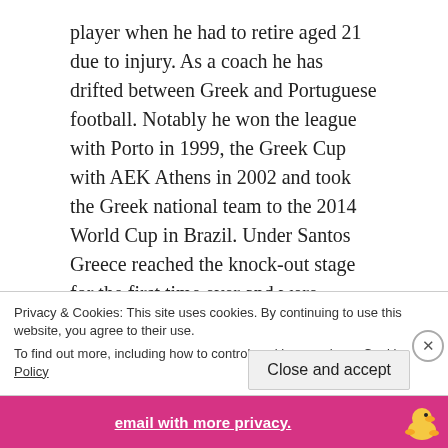player when he had to retire aged 21 due to injury. As a coach he has drifted between Greek and Portuguese football. Notably he won the league with Porto in 1999, the Greek Cup with AEK Athens in 2002 and took the Greek national team to the 2014 World Cup in Brazil. Under Santos Greece reached the knock-out stage for the first time ever and were unlucky to be eliminated on penalties to Costa Rica. During the game Santos was sent off for apparent dissent and was reduced to watching the drama unfold on TV before being handed a 6-game touchline ban. To make matter worse, his contract expired the next day who knows what
Privacy & Cookies: This site uses cookies. By continuing to use this website, you agree to their use.
To find out more, including how to control cookies, see here: Cookie Policy
Close and accept
email with more privacy.